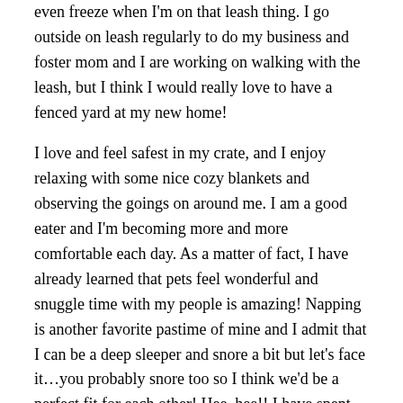even freeze when I'm on that leash thing. I go outside on leash regularly to do my business and foster mom and I are working on walking with the leash, but I think I would really love to have a fenced yard at my new home!
I love and feel safest in my crate, and I enjoy relaxing with some nice cozy blankets and observing the goings on around me. I am a good eater and I'm becoming more and more comfortable each day. As a matter of fact, I have already learned that pets feel wonderful and snuggle time with my people is amazing! Napping is another favorite pastime of mine and I admit that I can be a deep sleeper and snore a bit but let's face it…you probably snore too so I think we'd be a perfect fit for each other! Hee, hee!! I have spent some time with a 4-year-old child and though I was super calm I was very scared and didn't want to engage. I have not met any cats, but I am good with other dogs, and I would like to have a canine companion at my new home who will help me feel comfortable and teach me tricks and behaviors I should know so that I may become the amazing boy I am destined to be.
Anyway, I am a very sweet guy who has the softest fur ever which